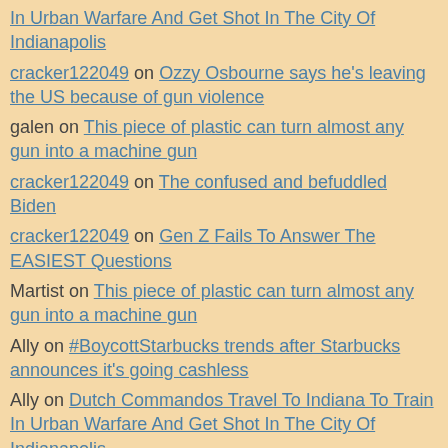In Urban Warfare And Get Shot In The City Of Indianapolis
cracker122049 on Ozzy Osbourne says he's leaving the US because of gun violence
galen on This piece of plastic can turn almost any gun into a machine gun
cracker122049 on The confused and befuddled Biden
cracker122049 on Gen Z Fails To Answer The EASIEST Questions
Martist on This piece of plastic can turn almost any gun into a machine gun
Ally on #BoycottStarbucks trends after Starbucks announces it's going cashless
Ally on Dutch Commandos Travel To Indiana To Train In Urban Warfare And Get Shot In The City Of Indianapolis
Ally on This piece of plastic can turn almost any gun into a machine gun
Ed Teach on Biden Claims Bullet Out of AR-15 Is 5X